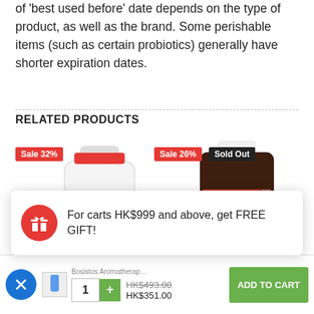of 'best used before' date depends on the type of product, as well as the brand. Some perishable items (such as certain probiotics) generally have shorter expiration dates.
RELATED PRODUCTS
[Figure (photo): Two product bottles: Bosisto's Eucalyptus Solution with Sale 32% badge, and a dark Bosisto's bottle with Sale 26% and Sold Out badges]
For carts HK$999 and above, get FREE GIFT!
Bosistos Aromatherapy Diffuser
HK$493.00 (strikethrough) HK$351.00
ADD TO CART